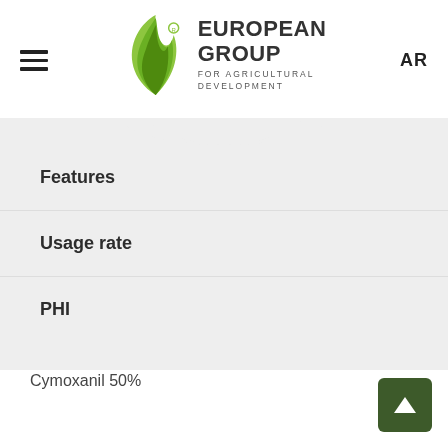[Figure (logo): European Group for Agricultural Development logo with green leaf/flame icon and bold text]
AR
Features
Usage rate
PHI
Cymoxanil 50%